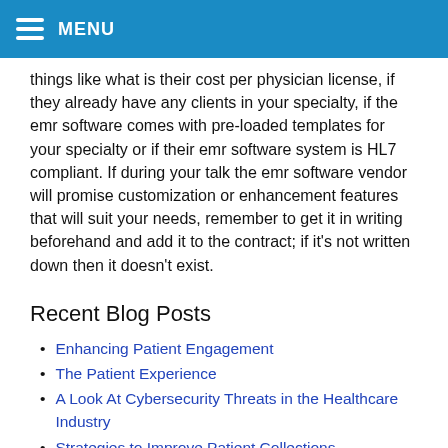MENU
things like what is their cost per physician license, if they already have any clients in your specialty, if the emr software comes with pre-loaded templates for your specialty or if their emr software system is HL7 compliant. If during your talk the emr software vendor will promise customization or enhancement features that will suit your needs, remember to get it in writing beforehand and add it to the contract; if it's not written down then it doesn't exist.
Recent Blog Posts
Enhancing Patient Engagement
The Patient Experience
A Look At Cybersecurity Threats in the Healthcare Industry
Strategies to Improve Patient Collections
Telemedicine and its Role in Revolutionizing